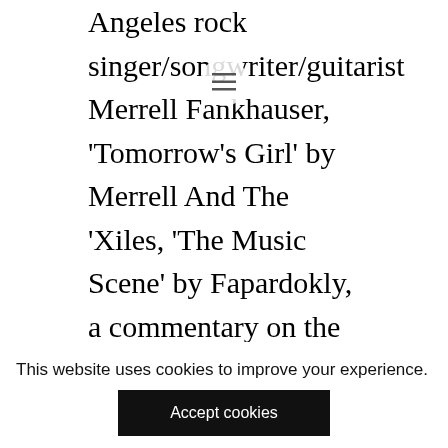Angeles rock singer/songwriter/guitarist Merrell Fankhauser, 'Tomorrow's Girl' by Merrell And The 'Xiles, 'The Music Scene' by Fapardokly, a commentary on the Los Angeles music scene, and the psychedelic classic 'Drivin' Sideways On A One Way Street' by Merrell Fankhauser And H.M.S. Bounty. Also represented by three tracks is vocalist James Lowe with the various incarnations of what would become The Electric Prunes, beginning with two unreleased 1965 tracks 'Help Yourself' by The Sanctions and a cover of The Leaves' 'Too Many People' by Jim And The Lords and ending with the 1967 single 'The Great Banana Hoax' credited to The
This website uses cookies to improve your experience.
Accept cookies